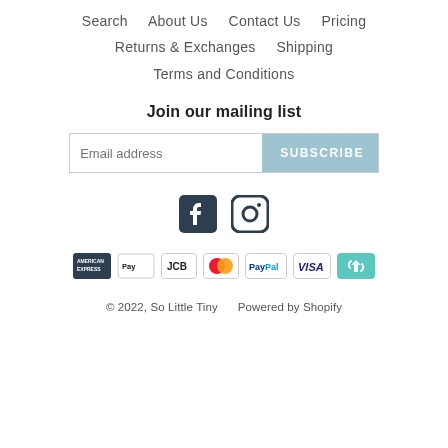Search    About Us    Contact Us    Pricing
Returns & Exchanges    Shipping
Terms and Conditions
Join our mailing list
Email address  SUBSCRIBE
[Figure (other): Facebook and Instagram social media icons]
[Figure (other): Payment method icons: American Express, Apple Pay, JCB, Mastercard, PayPal, Visa, and a recycling/return icon]
© 2022, So Little Tiny    Powered by Shopify